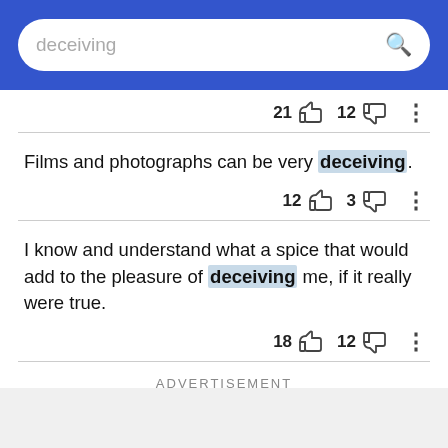deceiving [search bar]
21 [thumbs up] 12 [thumbs down] [more options]
Films and photographs can be very deceiving.
12 [thumbs up] 3 [thumbs down] [more options]
I know and understand what a spice that would add to the pleasure of deceiving me, if it really were true.
18 [thumbs up] 12 [thumbs down] [more options]
ADVERTISEMENT